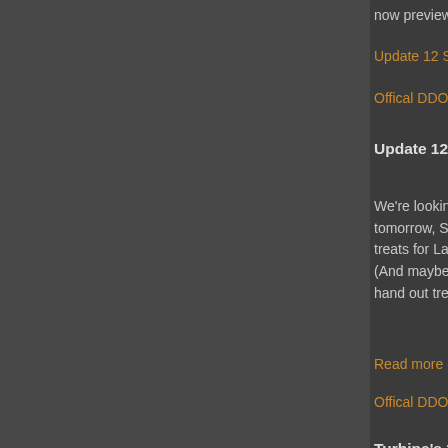now preview it on the Lamannia servers.
Update 12 Summary here >>
Offical DDO U12 Annoucement >>
Update 12 Events on Lamannia: Oct 29th @ 12PM
We're looking for players brave enough to face O... tomorrow, Saturday Oct 29th! Those who play th... treats for Lamannia and for their live characters ... (And maybe other Devs) from 12:00 PM Eastern... hand out treats for good little adventurers!
Read more details at the DDO Lamannia Forum...
Offical DDO U12 Announcement >>
Turbine's 2011 Annual Halloween Pumpkin Carvi...
It's that time of year again: the weather turns col... and spooky fun turns up everywhere. It also mea... pumpkin carving contest! Turbine is looking for th... following categories:
Asheron's Call